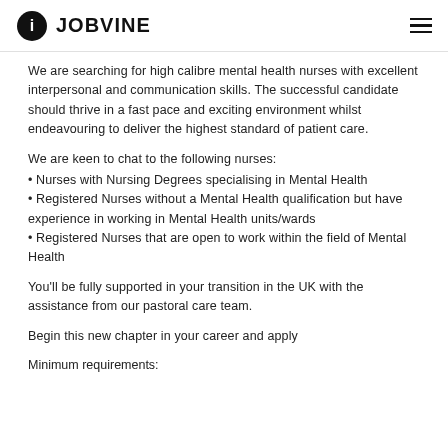JOBVINE
We are searching for high calibre mental health nurses with excellent interpersonal and communication skills. The successful candidate should thrive in a fast pace and exciting environment whilst endeavouring to deliver the highest standard of patient care.
We are keen to chat to the following nurses:
• Nurses with Nursing Degrees specialising in Mental Health
• Registered Nurses without a Mental Health qualification but have experience in working in Mental Health units/wards
• Registered Nurses that are open to work within the field of Mental Health
You'll be fully supported in your transition in the UK with the assistance from our pastoral care team.
Begin this new chapter in your career and apply
Minimum requirements: